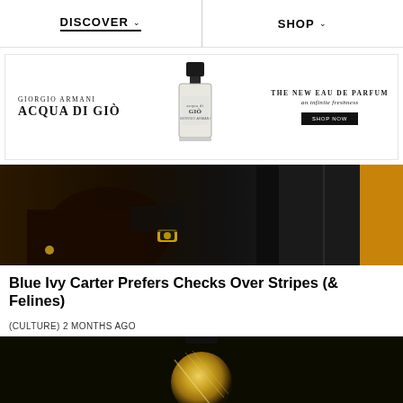DISCOVER  SHOP
[Figure (illustration): Giorgio Armani Acqua Di Giò advertisement banner with perfume bottle image. Text: GIORGIO ARMANI ACQUA DI GIÒ / THE NEW EAU DE PARFUM an infinite freshness / SHOP NOW button]
[Figure (photo): Photo of two people sitting together, one wearing a black t-shirt and gold watch, another in a black leather jacket, with a yellow background on the right side]
Blue Ivy Carter Prefers Checks Over Stripes (& Felines)
(CULTURE) 2 MONTHS AGO
[Figure (photo): Partial view of a round gold perfume bottle on dark background]